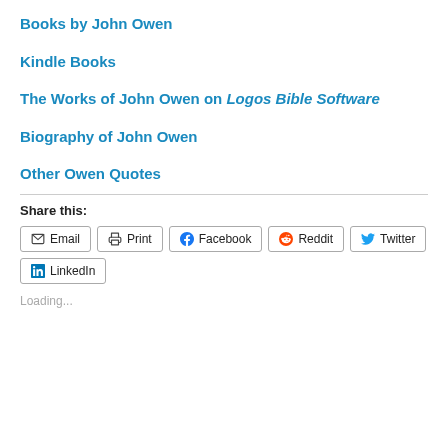Books by John Owen
Kindle Books
The Works of John Owen on Logos Bible Software
Biography of John Owen
Other Owen Quotes
Share this:
Email  Print  Facebook  Reddit  Twitter  LinkedIn
Loading...